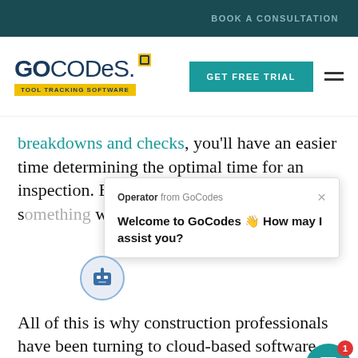BOOK A CONSULTATION
[Figure (logo): GoCodes Tool Tracking Software logo with teal GET FREE TRIAL button and hamburger menu]
breakdowns and checks, you'll have an easier time determining the optimal time for an inspection. Basing inspection frequency on s... way to go abou... maintenar...
[Figure (screenshot): Chat popup from Operator from GoCodes: 'Welcome to GoCodes 👋 How may I assist you?' with robot avatar and close button]
All of this is why construction professionals have been turning to cloud-based software, which allows them